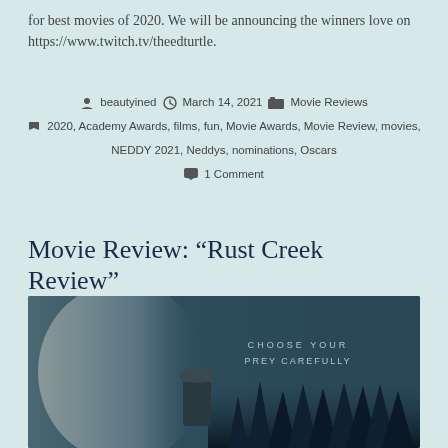for best movies of 2020. We will be announcing the winners love on https://www.twitch.tv/theedturtle.
beautyined  March 14, 2021  Movie Reviews  2020, Academy Awards, films, fun, Movie Awards, Movie Review, movies, NEDDY 2021, Neddys, nominations, Oscars  1 Comment
Movie Review: “Rust Creek Review”
[Figure (photo): Movie poster for Rust Creek featuring a woman with injuries on her face on the left, a figure wearing a cap in the background, dark misty forest silhouette, and text reading CHOOSE YOUR PREY CAREFULLY]